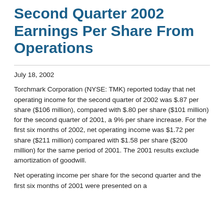Second Quarter 2002 Earnings Per Share From Operations
July 18, 2002
Torchmark Corporation (NYSE: TMK) reported today that net operating income for the second quarter of 2002 was $.87 per share ($106 million), compared with $.80 per share ($101 million) for the second quarter of 2001, a 9% per share increase. For the first six months of 2002, net operating income was $1.72 per share ($211 million) compared with $1.58 per share ($200 million) for the same period of 2001. The 2001 results exclude amortization of goodwill.
Net operating income per share for the second quarter and the first six months of 2001 were presented on a...